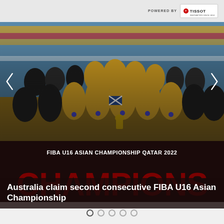[Figure (logo): Powered by Tissot logo badge in top right corner]
[Figure (photo): Australia U16 basketball team celebrating with medals and trophy, wearing yellow jerseys, on a basketball court with colored stadium seats in background. Banner reads FIBA U16 ASIAN CHAMPIONSHIP QATAR 2022 and CHAMPIONS.]
Australia claim second consecutive FIBA U16 Asian Championship
[Figure (other): Pagination dots: 5 dots, first is active/filled ring, remaining 4 are empty circles]